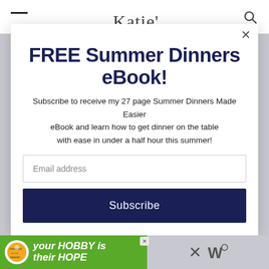FREE Summer Dinners eBook!
Subscribe to receive my 27 page Summer Dinners Made Easier eBook and learn how to get dinner on the table with ease in under a half hour this summer!
Email address
Subscribe
[Figure (screenshot): Advertisement banner: cookies for kid cancer with 'your HOBBY is their HOPE' text on green background]